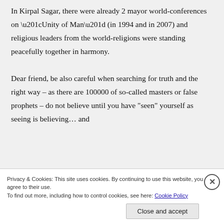In Kirpal Sagar, there were already 2 mayor world-conferences on “Unity of Man” (in 1994 and in 2007) and religious leaders from the world-religions were standing peacefully together in harmony.
Dear friend, be also careful when searching for truth and the right way – as there are 100000 of so-called masters or false prophets – do not believe until you have “seen” yourself as seeing is believing… and
Privacy & Cookies: This site uses cookies. By continuing to use this website, you agree to their use.
To find out more, including how to control cookies, see here: Cookie Policy